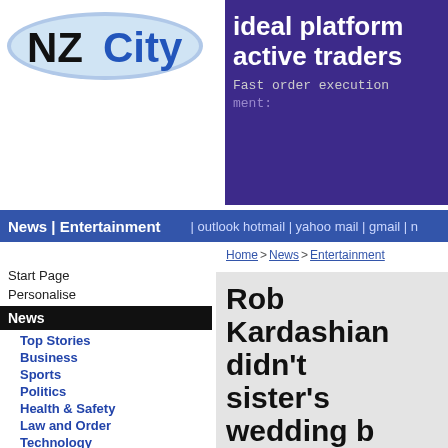[Figure (logo): NZCity logo - blue ellipse with NZ in bold and City text]
[Figure (infographic): Purple ad banner: 'ideal platform active traders' / 'Fast order execution' / 'ment:']
News | Entertainment | outlook hotmail | yahoo mail | gmail | n
Home > News > Entertainment
Start Page
Personalise
News
Top Stories
Business
Sports
Politics
Health & Safety
Law and Order
Technology
Education
Living & Travel
Entertainment
Motoring
Environment
National
International
Accidents
Rob Kardashian didn't sister's wedding b "doesn't like a sp
Kourtney Kardashian and Travis Bark knot in Portofino, Italy - but Rob opte studded ceremony in the picturesque become "extremely private" in recent
27 May 2022
A source said: "Rob didn't feature at the a